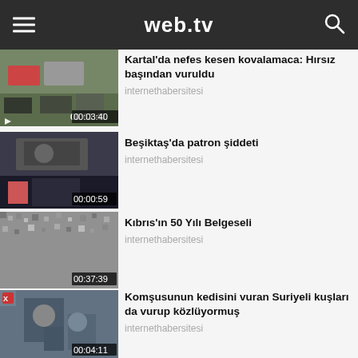web.tv
[Figure (screenshot): Video thumbnail: street scene with cars and police, duration 00:03:40]
Kartal'da nefes kesen kovalamaca: Hırsız başından vuruldu
internethabersitesi
[Figure (screenshot): Video thumbnail: office/reception security camera footage, duration 00:00:59]
Beşiktaş'da patron şiddeti
internethabersitesi
[Figure (screenshot): Video thumbnail: grainy black and white footage, duration 00:37:39]
Kıbrıs'ın 50 Yılı Belgeseli
internethabersitesi
[Figure (screenshot): Video thumbnail: two people outdoors, duration 00:04:11]
Komşusunun kedisini vuran Suriyeli kuşları da vurup közlüyormuş
internethabersitesi
[Figure (screenshot): Video thumbnail: partial view, duration unknown]
4 aylik sevgilisini elindeki goruntulerle tehdit ederek 10 bin TL isteyen